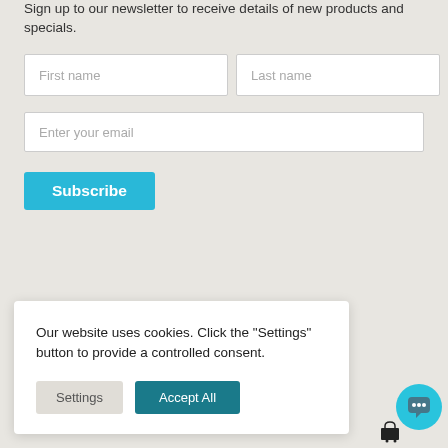Sign up to our newsletter to receive details of new products and specials.
[Figure (screenshot): Newsletter signup form with First name, Last name, and Enter your email input fields, plus a cyan Subscribe button]
[Figure (infographic): Cookie consent popup: 'Our website uses cookies. Click the "Settings" button to provide a controlled consent.' with Settings and Accept All buttons]
[Figure (illustration): Cyan chat bubble icon in bottom right corner]
[Figure (illustration): Shopping cart icon in bottom right]